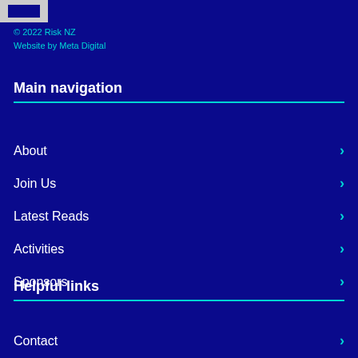[Figure (logo): Small logo bar at top left]
© 2022 Risk NZ
Website by Meta Digital
Main navigation
About
Join Us
Latest Reads
Activities
Sponsors
Helpful links
Contact